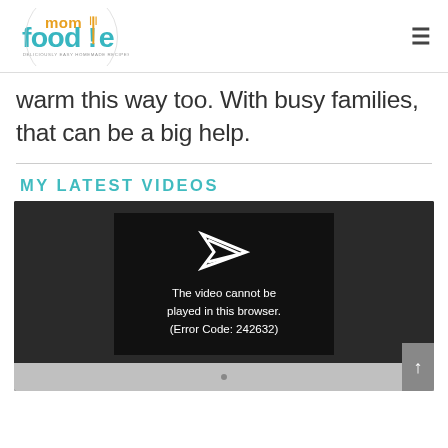mom foodie — DELICIOUSLY EASY HOMEMADE RECIPES
warm this way too. With busy families, that can be a big help.
MY LATEST VIDEOS
[Figure (screenshot): Video player showing error message: The video cannot be played in this browser. (Error Code: 242632)]